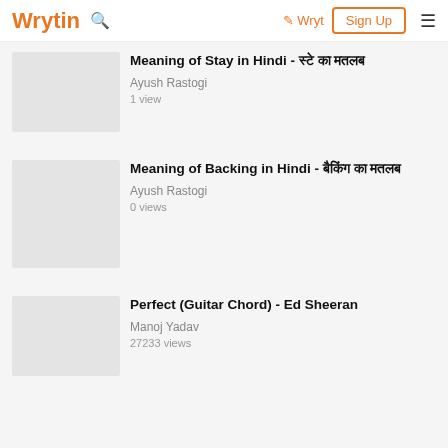Wrytin  Wryt  Sign Up
Meaning of Stay in Hindi - स्टे का मतलब
Ayush Rastogi
1 view
Meaning of Backing in Hindi - बैकिंग का मतलब
Ayush Rastogi
0 views
Perfect (Guitar Chord) - Ed Sheeran
Manoj Yadav
27233 views